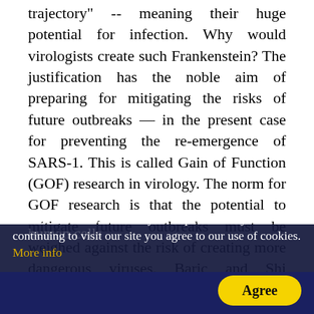trajectory" -- meaning their huge potential for infection. Why would virologists create such Frankenstein? The justification has the noble aim of preparing for mitigating the risks of future outbreaks — in the present case for preventing the re-emergence of SARS-1. This is called Gain of Function (GOF) research in virology. The norm for GOF research is that the potential to mitigate future outbreaks must be weighed against the risk of creating more dangerous viruses. Baric and Shi admitted the risks in their work but justified it on the GOF.
Baric, says Wade, had taught Shi a general method for making bat coronaviruses to attack human cells...
We use cookies to enhance your experience. By continuing to visit our site you agree to our use of cookies. More info